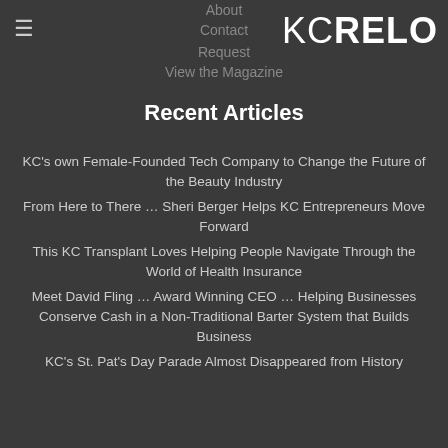KC RELO
About
Contact
Request
View the Magazine
Recent Articles
KC's own Female-Founded Tech Company to Change the Future of the Beauty Industry
From Here to There … Sheri Berger Helps KC Entrepreneurs Move Forward
This KC Transplant Loves Helping People Navigate Through the World of Health Insurance
Meet David Fling … Award Winning CEO … Helping Businesses Conserve Cash in a Non-Traditional Barter System that Builds Business
KC's St. Pat's Day Parade Almost Disappeared from History